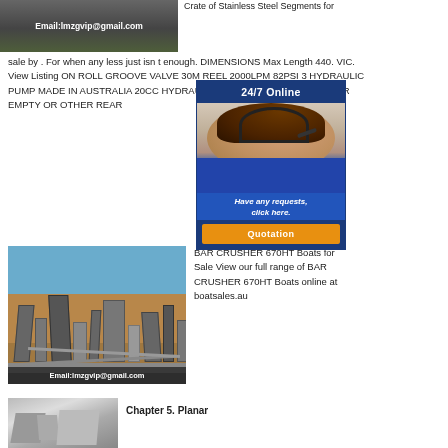[Figure (photo): Image with Email:lmzgvip@gmail.com overlay on dark background, appears to be a racing track or similar]
Crate of Stainless Steel Segments for sale by . For when any less just isn t enough. DIMENSIONS Max Length 440. VIC. View Listing ON ROLL GROOVE VALVE 30M REEL 2000LPM 82PSI 3 HYDRAULIC PUMP MADE IN AUSTRALIA 20CC HYDRAULIC PRESSURISED OUTLET FOR EMPTY OR OTHER REAR
[Figure (photo): Industrial mining/quarry machinery with conveyors under blue sky, Email:lmzgvip@gmail.com overlay at bottom]
BAR CRUSHER 670HT Boats for Sale View our full range of BAR CRUSHER 670HT Boats online at boatsales.au
[Figure (infographic): 24/7 Online popup with customer service representative wearing headset, Have any requests, click here. Quotation button]
[Figure (photo): Partial image of industrial structure at bottom left]
Chapter 5. Planar